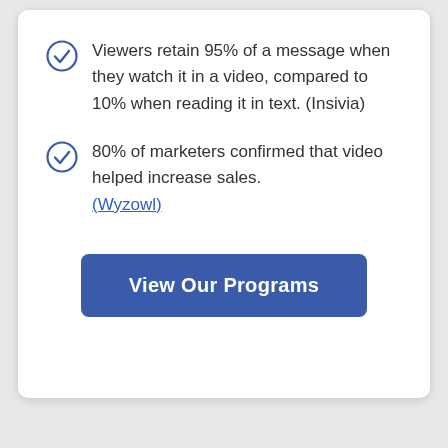Viewers retain 95% of a message when they watch it in a video, compared to 10% when reading it in text. (Insivia)
80% of marketers confirmed that video helped increase sales. (Wyzowl)
View Our Programs